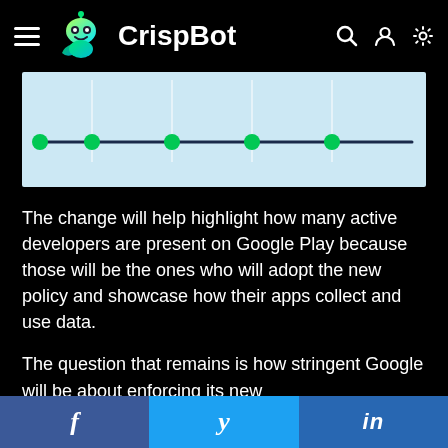CrispBot
[Figure (other): A horizontal timeline/progress line with 5 green circular dots evenly spaced on a dark line, displayed on a light blue background.]
The change will help highlight how many active developers are present on Google Play because those will be the ones who will adopt the new policy and showcase how their apps collect and use data.
The question that remains is how stringent Google will be about enforcing its new
f   y   in